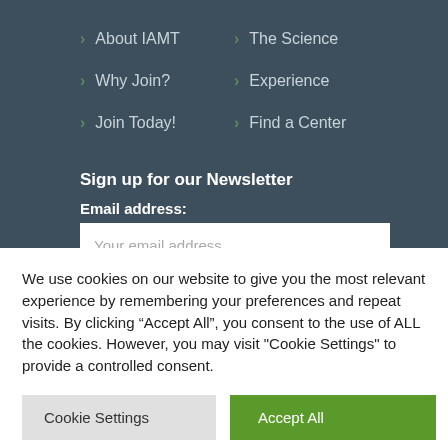About IAMT
The Science
Why Join?
Experience
Join Today!
Find a Center
Sign up for our Newsletter
Email address:
Your email address
We use cookies on our website to give you the most relevant experience by remembering your preferences and repeat visits. By clicking “Accept All”, you consent to the use of ALL the cookies. However, you may visit "Cookie Settings" to provide a controlled consent.
Cookie Settings
Accept All